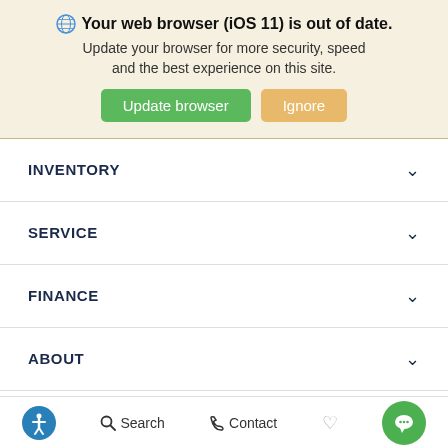Your web browser (iOS 11) is out of date. Update your browser for more security, speed and the best experience on this site.
[Figure (screenshot): Update browser and Ignore buttons]
INVENTORY
SERVICE
FINANCE
ABOUT
CONNECT WITH US
[Figure (screenshot): Bottom navigation bar with accessibility icon, Search, Contact, heart, and chat bubble icons]